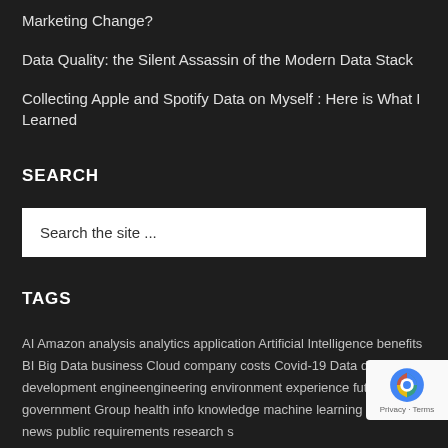Marketing Change?
Data Quality: the Silent Assassin of the Modern Data Stack
Collecting Apple and Spotify Data on Myself : Here is What I Learned
SEARCH
Search the site ...
TAGS
AI Amazon analysis analytics application Artificial Intelligence benefits BI Big Data business Cloud company costs Covid-19 Data design development engin... engineering environment experience future government Group health info... knowledge machine learning mobile news public requirements research s...